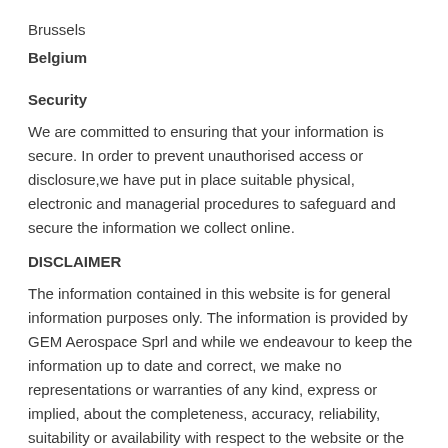Brussels
Belgium
Security
We are committed to ensuring that your information is secure. In order to prevent unauthorised access or disclosure,we have put in place suitable physical, electronic and managerial procedures to safeguard and secure the information we collect online.
DISCLAIMER
The information contained in this website is for general information purposes only. The information is provided by GEM Aerospace Sprl and while we endeavour to keep the information up to date and correct, we make no representations or warranties of any kind, express or implied, about the completeness, accuracy, reliability, suitability or availability with respect to the website or the information, products, services, or related graphics contained on the website for any purpose. Any reliance you place on such information is therefore strictly at your own risk.